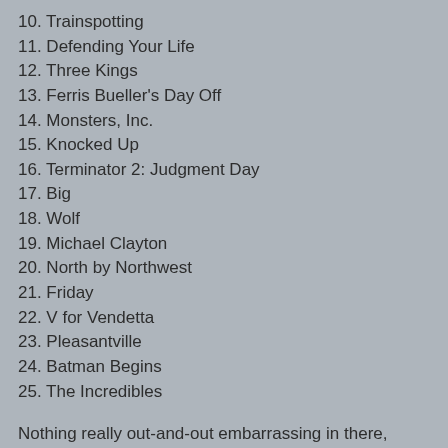10. Trainspotting
11. Defending Your Life
12. Three Kings
13. Ferris Bueller's Day Off
14. Monsters, Inc.
15. Knocked Up
16. Terminator 2: Judgment Day
17. Big
18. Wolf
19. Michael Clayton
20. North by Northwest
21. Friday
22. V for Vendetta
23. Pleasantville
24. Batman Begins
25. The Incredibles
Nothing really out-and-out embarrassing in there, surprisingly. "Grosse Pointe Blank" might be a little high at #8, but, well, I think my affection for that movie was already obvious. Kind of surprised to see "Knocked Up" in the top 25, too, but I just really, really liked it, and it hasn't lost a thing